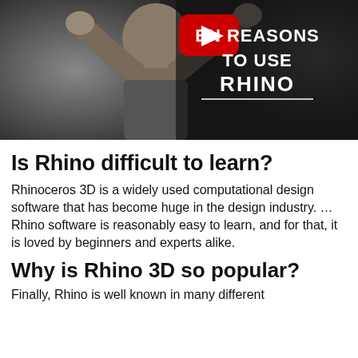[Figure (screenshot): YouTube video thumbnail showing a man with raised hands and text 'EN REASONS TO USE RHINO' with a YouTube play button icon on a dark background]
Is Rhino difficult to learn?
Rhinoceros 3D is a widely used computational design software that has become huge in the design industry. … Rhino software is reasonably easy to learn, and for that, it is loved by beginners and experts alike.
Why is Rhino 3D so popular?
Finally, Rhino is well known in many different